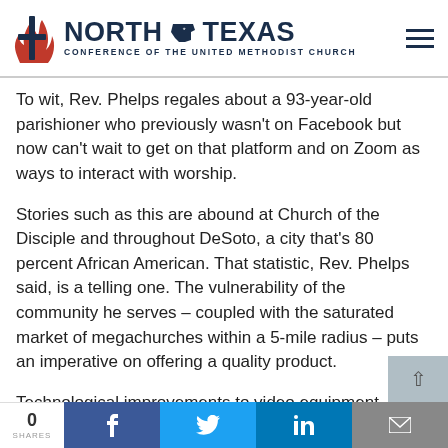North Texas Conference of the United Methodist Church
To wit, Rev. Phelps regales about a 93-year-old parishioner who previously wasn't on Facebook but now can't wait to get on that platform and on Zoom as ways to interact with worship.
Stories such as this are abound at Church of the Disciple and throughout DeSoto, a city that's 80 percent African American. That statistic, Rev. Phelps said, is a telling one. The vulnerability of the community he serves – coupled with the saturated market of megachurches within a 5-mile radius – puts an imperative on offering a quality product.
Technological improvements to video equipment, s[ound] quality and social media have enhanced the wors[hip]…